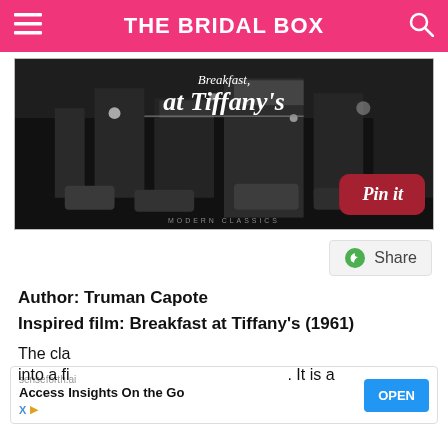THE BRIDAL BOX
[Figure (photo): Book cover for 'Breakfast at Tiffany's' shown against a black and white city night scene, with a red 'Pin it' button overlaid in the bottom right corner.]
Share
Author: Truman Capote
Inspired film: Breakfast at Tiffany's (1961)
The cla...made into a fi... It is a
senseforth.ai
Access Insights On the Go
OPEN